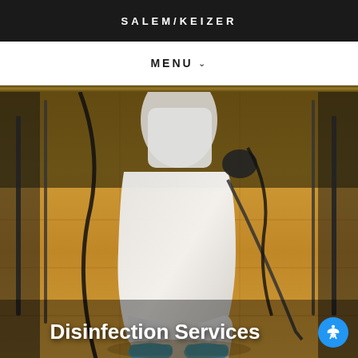SALEM/KEIZER
MENU
[Figure (photo): Person in white protective hazmat suit and blue shoe covers, carrying a sprayer tank on their back and holding a spray wand, spraying a hardwood floor in an indoor setting. Metal chair legs visible in the background and foreground.]
Disinfection Services